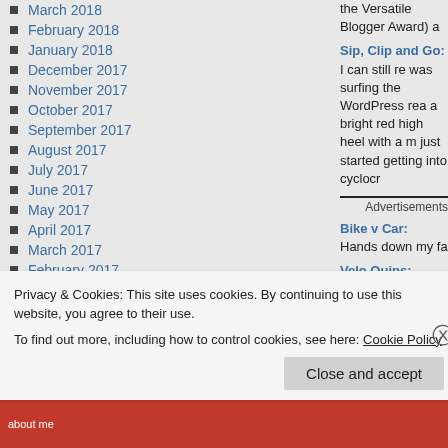March 2018
February 2018
January 2018
December 2017
November 2017
October 2017
September 2017
August 2017
July 2017
June 2017
May 2017
April 2017
March 2017
February 2017
January 2017
December 2016
November 2016
the Versatile Blogger Award) a
Sip, Clip and Go: I can still re was surfing the WordPress rea a bright red high heel with a m just started getting into cyclocr
Advertisements
Bike v Car: Hands down my fa
Velo Quips: Hands down my d about racing, this is (and isn't)
Seven things about me:
Privacy & Cookies: This site uses cookies. By continuing to use this website, you agree to their use.
To find out more, including how to control cookies, see here: Cookie Policy
Close and accept